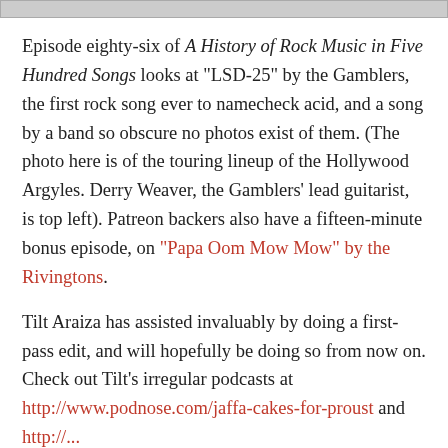[Figure (photo): Partial image strip at top of page (cropped photo)]
Episode eighty-six of A History of Rock Music in Five Hundred Songs looks at "LSD-25" by the Gamblers, the first rock song ever to namecheck acid, and a song by a band so obscure no photos exist of them. (The photo here is of the touring lineup of the Hollywood Argyles. Derry Weaver, the Gamblers' lead guitarist, is top left). Patreon backers also have a fifteen-minute bonus episode, on "Papa Oom Mow Mow" by the Rivingtons.
Tilt Araiza has assisted invaluably by doing a first-pass edit, and will hopefully be doing so from now on. Check out Tilt's irregular podcasts at http://www.podnose.com/jaffa-cakes-for-proust and http://...